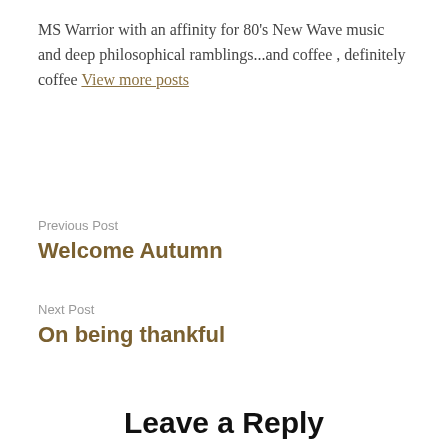MS Warrior with an affinity for 80's New Wave music and deep philosophical ramblings...and coffee , definitely coffee View more posts
Previous Post
Welcome Autumn
Next Post
On being thankful
Leave a Reply